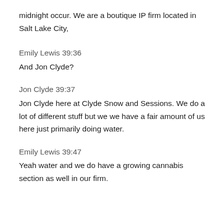midnight occur. We are a boutique IP firm located in Salt Lake City,
Emily Lewis 39:36
And Jon Clyde?
Jon Clyde 39:37
Jon Clyde here at Clyde Snow and Sessions. We do a lot of different stuff but we we have a fair amount of us here just primarily doing water.
Emily Lewis 39:47
Yeah water and we do have a growing cannabis section as well in our firm.